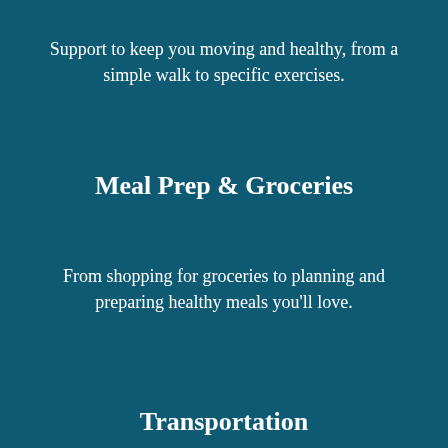Support to keep you moving and healthy, from a simple walk to specific exercises.
Meal Prep & Groceries
From shopping for groceries to planning and preparing healthy meals you’ll love.
Transportation
Wherever you’re going, get a ride in a comfortable car—or yours if you prefer.
Light Housekeeping